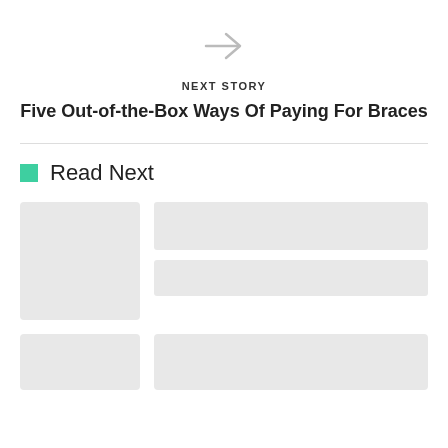[Figure (illustration): A right-pointing arrow icon in light gray]
NEXT STORY
Five Out-of-the-Box Ways Of Paying For Braces
Read Next
[Figure (illustration): Placeholder card with gray image on left and two gray text bars on the right]
[Figure (illustration): Second row with two gray placeholder image blocks]